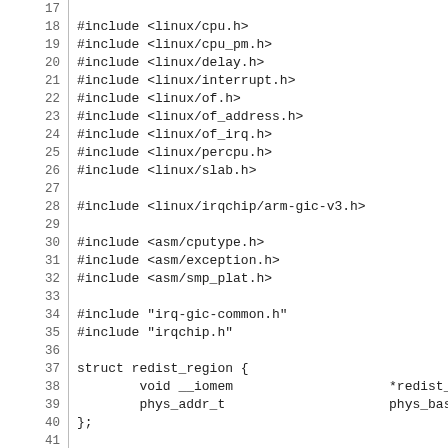Source code listing lines 17-46, C header includes and struct definitions for irq-gic-v3 driver
17: (blank)
18: #include <linux/cpu.h>
19: #include <linux/cpu_pm.h>
20: #include <linux/delay.h>
21: #include <linux/interrupt.h>
22: #include <linux/of.h>
23: #include <linux/of_address.h>
24: #include <linux/of_irq.h>
25: #include <linux/percpu.h>
26: #include <linux/slab.h>
27: (blank)
28: #include <linux/irqchip/arm-gic-v3.h>
29: (blank)
30: #include <asm/cputype.h>
31: #include <asm/exception.h>
32: #include <asm/smp_plat.h>
33: (blank)
34: #include "irq-gic-common.h"
35: #include "irqchip.h"
36: (blank)
37: struct redist_region {
38:         void __iomem                    *redist_base;
39:         phys_addr_t                     phys_base;
40: };
41: (blank)
42: struct gic_chip_data {
43:         void __iomem                    *dist_base;
44:         struct redist_region            *redist_region
45:         struct rdists                   rdists;
46:         struct irq_domain               *domain;